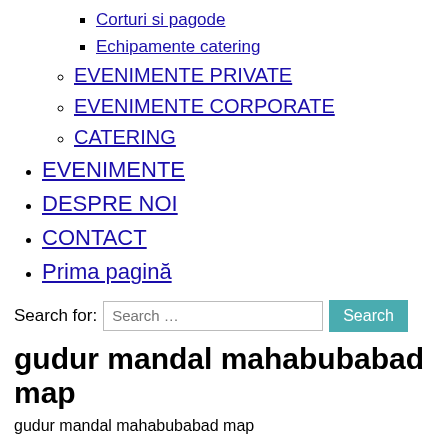Corturi si pagode
Echipamente catering
EVENIMENTE PRIVATE
EVENIMENTE CORPORATE
CATERING
EVENIMENTE
DESPRE NOI
CONTACT
Prima pagină
Search for:
gudur mandal mahabubabad map
gudur mandal mahabubabad map
This place is situated in Warangal, Andhra Pradesh, India, its geographical coordinates are 17° 37' 0" North, 80° … No middlemen. You can easily choose your hotel by location. A Post Office (PO) / Dak Ghar is a facility in charge of sorting, processing, and delivering mail to recipients. Link to it or recommend it! You always get the lowest price. Mahabubabad district … The Mahabubabad District